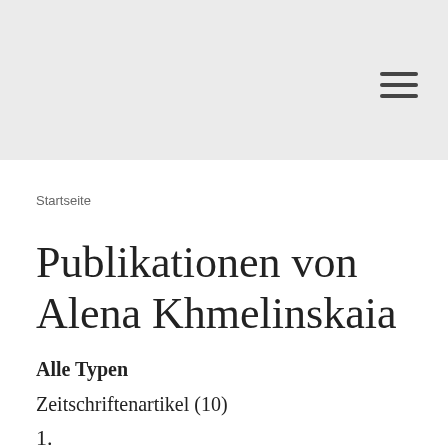Startseite
Publikationen von Alena Khmelinskaia
Alle Typen
Zeitschriftenartikel (10)
1.